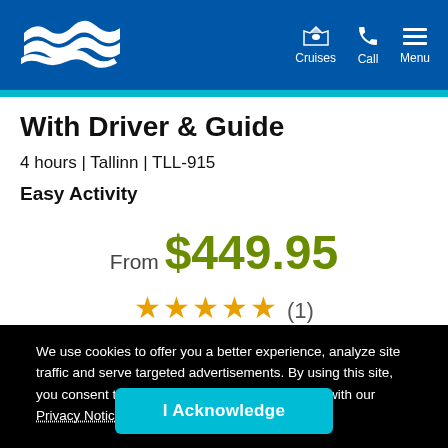Cruises | Call | Menu
With Driver & Guide
4 hours | Tallinn | TLL-915
Easy Activity
From $449.95
★★★★★ (1) Avg Guest Rating
We use cookies to offer you a better experience, analyze site traffic and serve targeted advertisements. By using this site, you consent to the use of cookies in accordance with our Privacy Notice
I Acknowledge